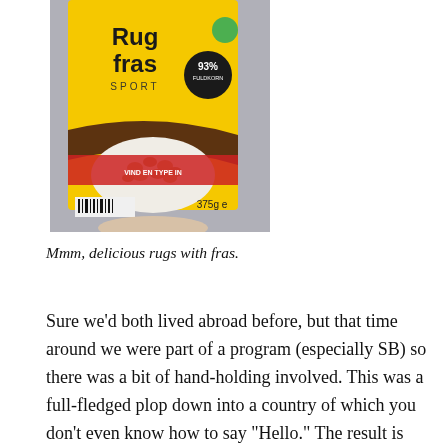[Figure (photo): A hand holding a yellow cereal box labeled 'Rug fras SPORT' with a bowl of grain cereal pictured on the front. The box shows '93% FULDKORN' badge and '375g' at the bottom. There is a red banner near the bottom of the package. A barcode is visible at the lower left.]
Mmm, delicious rugs with fras.
Sure we’d both lived abroad before, but that time around we were part of a program (especially SB) so there was a bit of hand-holding involved. This was a full-fledged plop down into a country of which you don’t even know how to say “Hello.” The result is that